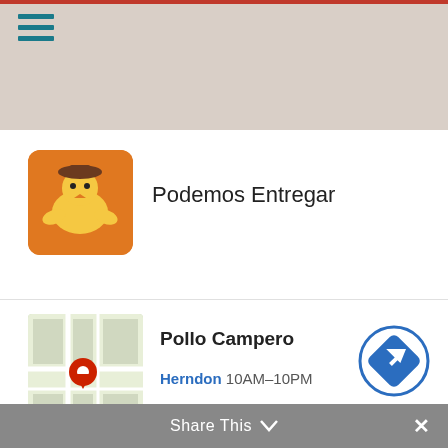[Figure (screenshot): Top section of a mobile app/website showing a hamburger menu icon on a light grey/beige background with a red strip at the top]
Podemos Entregar
[Figure (photo): Map showing Herndon area with a red location pin]
Pollo Campero
Herndon 10AM-10PM
[Figure (other): Blue circle with a blue diamond navigation arrow icon]
5. Source of Vitamin B12
All the vegetarians out there need to know for once and for
Living Room Furniture In Stock
Furniture Max
Share This ∨
×